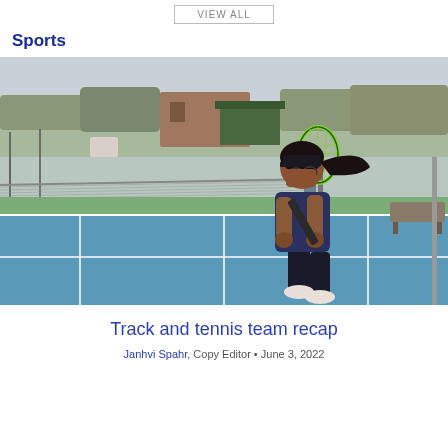VIEW ALL
Sports
[Figure (photo): A female tennis player in a navy blue outfit and cap holding a racket in a backswing position on a blue tennis court, with another player visible in the background.]
Track and tennis team recap
Janhvi Spahr, Copy Editor • June 3, 2022